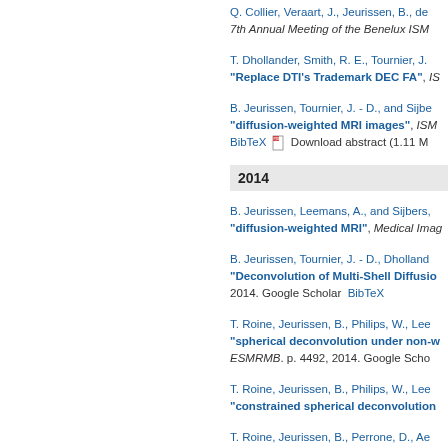Q. Collier, Veraart, J., Jeurissen, B., de… 7th Annual Meeting of the Benelux ISM…
T. Dhollander, Smith, R. E., Tournier, J. … "Replace DTI's Trademark DEC FA", IS…
B. Jeurissen, Tournier, J. - D., and Sijbe… "diffusion-weighted MRI images", ISM… BibTeX Download abstract (1.11 M…
2014
B. Jeurissen, Leemans, A., and Sijbers, … "diffusion-weighted MRI", Medical Imag…
B. Jeurissen, Tournier, J. - D., Dholland… "Deconvolution of Multi-Shell Diffusio… 2014. Google Scholar BibTeX
T. Roine, Jeurissen, B., Philips, W., Lee… "spherical deconvolution under non-w… ESMRMB. p. 4492, 2014. Google Scho…
T. Roine, Jeurissen, B., Philips, W., Lee… "constrained spherical deconvolution…
T. Roine, Jeurissen, B., Perrone, D., Ae… "volume effects in constrained spheri…